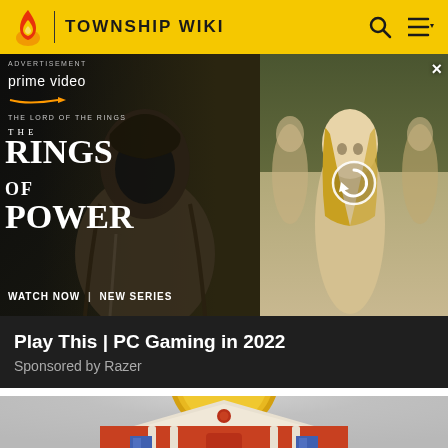TOWNSHIP WIKI
[Figure (screenshot): Amazon Prime Video advertisement for The Lord of the Rings: The Rings of Power. Left panel shows dark fantasy figure with text 'prime video', 'THE LORD OF THE RINGS', 'THE', 'RINGS OF POWER', 'WATCH NOW | NEW SERIES'. Right panel shows blond female character with refresh icon overlay. Close button (×) top right.]
ADVERTISEMENT
Play This | PC Gaming in 2022
Sponsored by Razer
[Figure (illustration): Stylized cartoon/emoji-style illustration of a classic building with a golden dome, red brick facade, white columns and triangular pediment, and blue arched windows — Township game building icon.]